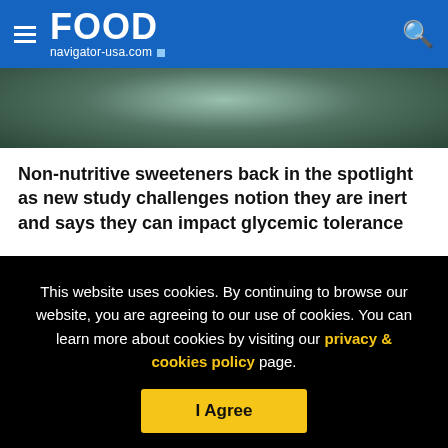FOOD navigator-usa.com
[Figure (photo): Partial image of dark food/drink background visible at top of page]
Non-nutritive sweeteners back in the spotlight as new study challenges notion they are inert and says they can impact glycemic tolerance
WilliamReed.
This website uses cookies. By continuing to browse our website, you are agreeing to our use of cookies. You can learn more about cookies by visiting our privacy & cookies policy page.
I Agree